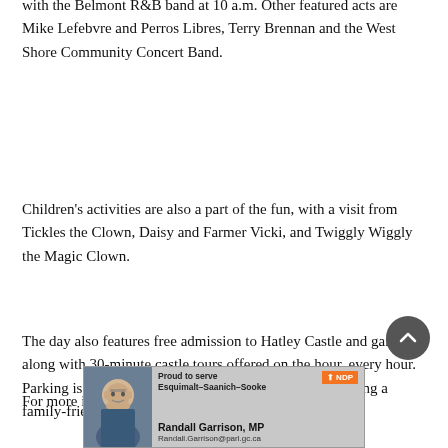with the Belmont R&B band at 10 a.m. Other featured acts are Mike Lefebvre and Perros Libres, Terry Brennan and the West Shore Community Concert Band.
Children's activities are also a part of the fun, with a visit from Tickles the Clown, Daisy and Farmer Vicki, and Twiggly Wiggly the Magic Clown.
The day also features free admission to Hatley Castle and gardens, along with 30-minute castle tours offered on the hour, every hour. Parking is $5 for the day and Truffles Catering is providing a family-friendly menu.
For more information call 250-391-2666 or email paint-
[Figure (advertisement): NDP political advertisement for Randall Garrison, MP for Esquimalt-Saanich-Sooke. Shows photo of man in glasses, text 'Proud to serve Esquimalt-Saanich-Sooke', NDP logo, name 'Randall Garrison, MP' and email 'Randall.Garrison@parl.gc.ca']